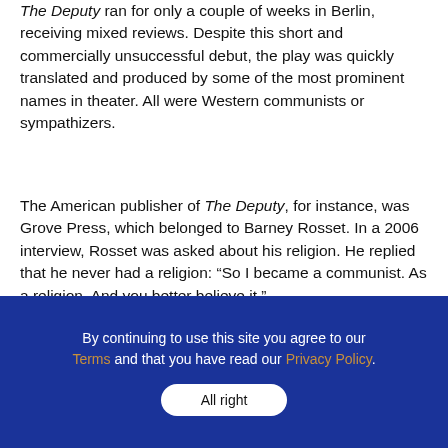The Deputy ran for only a couple of weeks in Berlin, receiving mixed reviews. Despite this short and commercially unsuccessful debut, the play was quickly translated and produced by some of the most prominent names in theater. All were Western communists or sympathizers.
The American publisher of The Deputy, for instance, was Grove Press, which belonged to Barney Rosset. In a 2006 interview, Rosset was asked about his religion. He replied that he never had a religion: “So I became a communist. As a religion. And you better believe it.”
Herman Shumlin was the American producer who
By continuing to use this site you agree to our Terms and that you have read our Privacy Policy.
All right